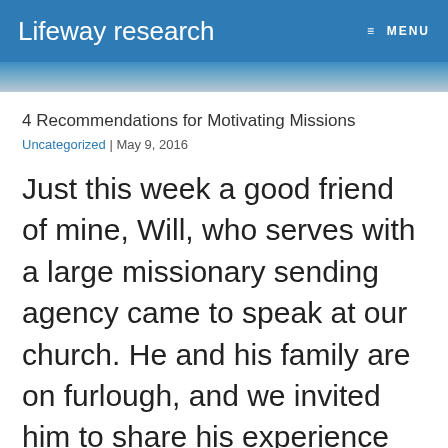Lifeway research  ≡ MENU
4 Recommendations for Motivating Missions
Uncategorized | May 9, 2016
Just this week a good friend of mine, Will, who serves with a large missionary sending agency came to speak at our church. He and his family are on furlough, and we invited him to share his experience as a missionary.